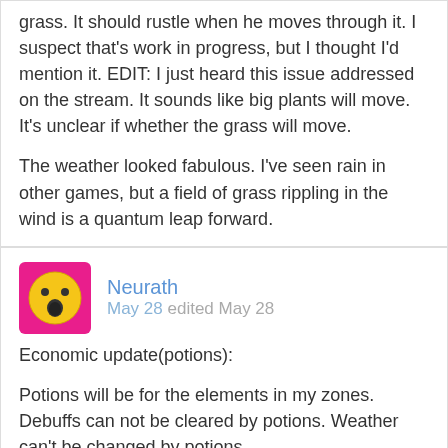grass. It should rustle when he moves through it. I suspect that's work in progress, but I thought I'd mention it. EDIT: I just heard this issue addressed on the stream. It sounds like big plants will move. It's unclear if whether the grass will move.

The weather looked fabulous. I've seen rain in other games, but a field of grass rippling in the wind is a quantum leap forward.
Neurath
May 28 edited May 28
Economic update(potions):

Potions will be for the elements in my zones. Debuffs can not be cleared by potions. Weather can't be changed by potions.

For example, hell might cause fear and ill health. A potions cam clear ill health for 6 hours but not the fear debuff.

Of course, I can make changes at any time but I thought we could progress faster if I explained further.